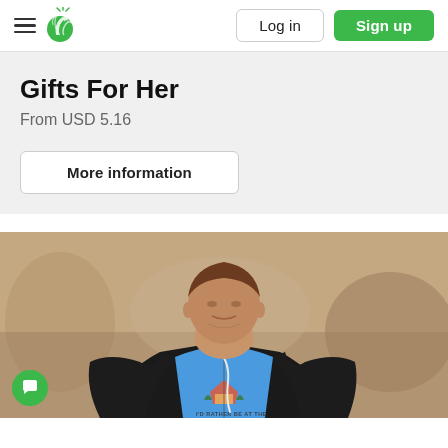Log in | Sign up
Gifts For Her
From USD 5.16
More information
[Figure (photo): Man wearing a blue graphic tank top with the text 'I'D RATHER BE AT THE' visible, over a black zip-up hoodie, with white earphones, standing outdoors.]